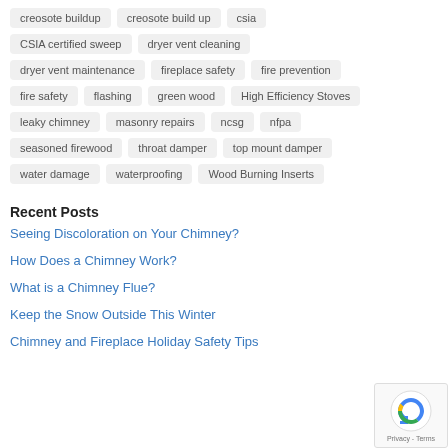creosote buildup
creosote build up
csia
CSIA certified sweep
dryer vent cleaning
dryer vent maintenance
fireplace safety
fire prevention
fire safety
flashing
green wood
High Efficiency Stoves
leaky chimney
masonry repairs
ncsg
nfpa
seasoned firewood
throat damper
top mount damper
water damage
waterproofing
Wood Burning Inserts
Recent Posts
Seeing Discoloration on Your Chimney?
How Does a Chimney Work?
What is a Chimney Flue?
Keep the Snow Outside This Winter
Chimney and Fireplace Holiday Safety Tips